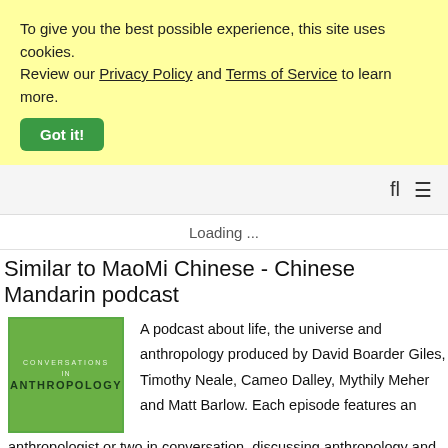To give you the best possible experience, this site uses cookies. Review our Privacy Policy and Terms of Service to learn more.
Got it!
Loading ...
Similar to MaoMi Chinese - Chinese Mandarin podcast
[Figure (illustration): Podcast cover art for Conversations in Anthropology - green square with white border, text reads CONVERSATIONS IN ANTHROPOLOGY]
A podcast about life, the universe and anthropology produced by David Boarder Giles, Timothy Neale, Cameo Dalley, Mythily Meher and Matt Barlow. Each episode features an anthropologist or two in conversation, discussing anthropology and what it has to tell us in the twenty-first century. This podcast is made in partnership with the American Anthropological